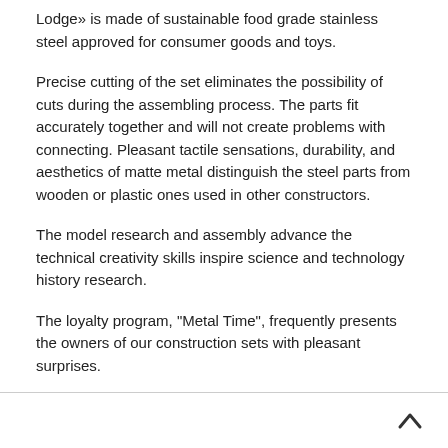Lodge» is made of sustainable food grade stainless steel approved for consumer goods and toys.
Precise cutting of the set eliminates the possibility of cuts during the assembling process. The parts fit accurately together and will not create problems with connecting. Pleasant tactile sensations, durability, and aesthetics of matte metal distinguish the steel parts from wooden or plastic ones used in other constructors.
The model research and assembly advance the technical creativity skills inspire science and technology history research.
The loyalty program, "Metal Time", frequently presents the owners of our construction sets with pleasant surprises.